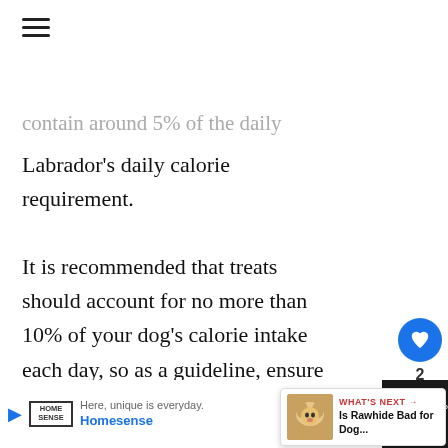[Figure (other): Hamburger menu icon (three horizontal lines)]
contain around 5% of the daily Labrador's daily calorie requirement.
It is recommended that treats should account for no more than 10% of your dog's calorie intake each day, so as a guideline, ensure your Labrador doesn't consume more than 4-8 inches this treat per day, depending on
[Figure (other): Social interaction widget showing heart/like button with count 2 and share button]
[Figure (other): What's Next card showing a dog photo with label 'Is Rawhide Bad for Dog...']
[Figure (other): Advertisement bar for Homesense: 'Here, unique is everyday.']